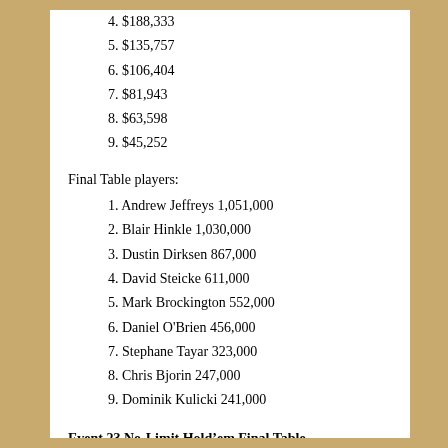4. $188,333
5. $135,757
6. $106,404
7. $81,943
8. $63,598
9. $45,252
Final Table players:
1. Andrew Jeffreys 1,051,000
2. Blair Hinkle 1,030,000
3. Dustin Dirksen 867,000
4. David Steicke 611,000
5. Mark Brockington 552,000
6. Daniel O'Brien 456,000
7. Stephane Tayar 323,000
8. Chris Bjorin 247,000
9. Dominik Kulicki 241,000
Event 23 No-Limit Hold’em Final Table
Details will come later.
1. Blair Hinkle $507,613
2. Mark Brockington $326,551
3. Daniel O'Brien $198,132
4. David Steicke $166,333
5. Dustin Dirksen $135,757
6. Chris Bjorin $106,404
7. Dominik Kulicki $81,947